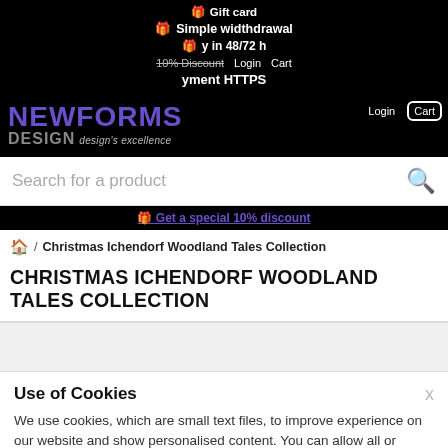Gift card | Simple withdrawal | Delivery in 48/72 h | 10% Discount | Secure payment HTTPS
[Figure (logo): Newforms Design logo with purple NEWFORMS text, grey DESIGN text and design's excellence tagline]
Login  Cart
Search for a product
Get a special 10% discount
🏠 / Christmas Ichendorf Woodland Tales Collection
CHRISTMAS ICHENDORF WOODLAND TALES COLLECTION
Use of Cookies
We use cookies, which are small text files, to improve experience on our website and show personalised content. You can allow all or manage them.